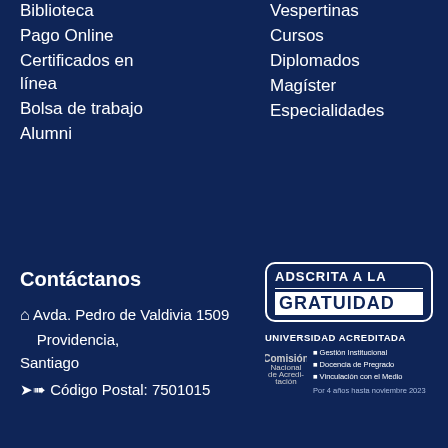Biblioteca
Pago Online
Certificados en línea
Bolsa de trabajo
Alumni
Vespertinas
Cursos
Diplomados
Magíster
Especialidades
Contáctanos
Avda. Pedro de Valdivia 1509 Providencia, Santiago
Código Postal: 7501015
[Figure (infographic): Badge reading ADSCRITA A LA GRATUIDAD with a rounded rectangle border, plus UNIVERSIDAD ACREDITADA with CNA logo and bullet points: Gestión Institucional, Docencia de Pregrado, Vinculación con el Medio. Por 4 años hasta noviembre 2023.]